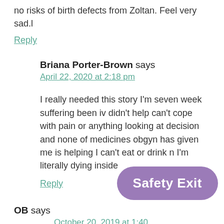no risks of birth defects from Zoltan. Feel very sad.l
Reply
Briana Porter-Brown says
April 22, 2020 at 2:18 pm
I really needed this story I'm seven week suffering been iv didn't help can't cope with pain or anything looking at decision and none of medicines obgyn has given me is helping I can't eat or drink n I'm literally dying inside
Reply
OB says
October 20, 2019 at 1:40
I recently terminated my 3rd HG pregnancy. And I feel so
[Figure (other): Safety Exit button overlay in purple/mauve rounded rectangle]